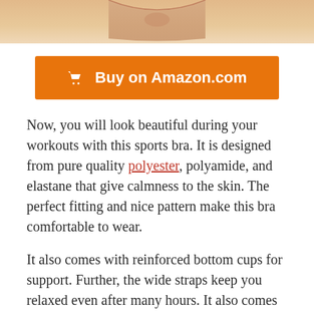[Figure (photo): Partial image of a sports bra in a nude/beige color, cropped at the top of the page]
Buy on Amazon.com
Now, you will look beautiful during your workouts with this sports bra. It is designed from pure quality polyester, polyamide, and elastane that give calmness to the skin. The perfect fitting and nice pattern make this bra comfortable to wear.
It also comes with reinforced bottom cups for support. Further, the wide straps keep you relaxed even after many hours. It also comes with a hook and eye closure. Moreover, the